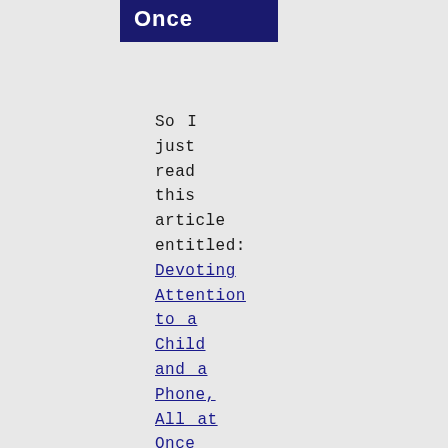All at Once
So I just read this article entitled: Devoting Attention to a Child and a Phone, All at Once and there seems to be some interesting apps